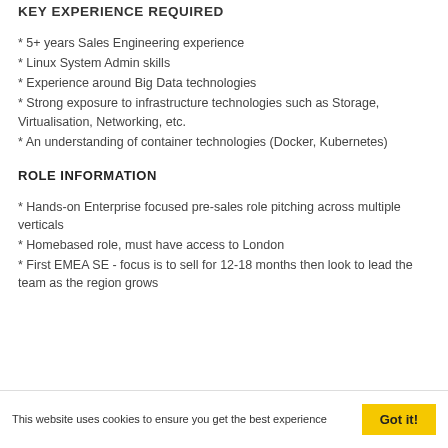KEY EXPERIENCE REQUIRED
* 5+ years Sales Engineering experience
* Linux System Admin skills
* Experience around Big Data technologies
* Strong exposure to infrastructure technologies such as Storage, Virtualisation, Networking, etc.
* An understanding of container technologies (Docker, Kubernetes)
ROLE INFORMATION
* Hands-on Enterprise focused pre-sales role pitching across multiple verticals
* Homebased role, must have access to London
* First EMEA SE - focus is to sell for 12-18 months then look to lead the team as the region grows
This website uses cookies to ensure you get the best experience